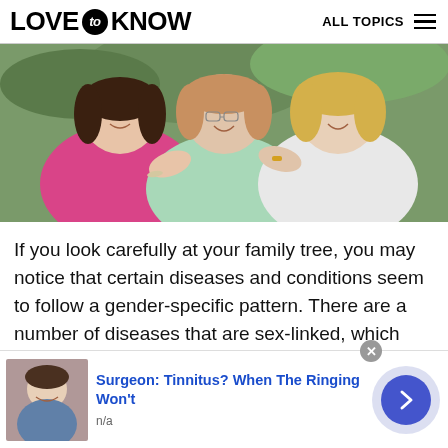LOVE to KNOW   ALL TOPICS
[Figure (photo): Three smiling women hugging each other outdoors, wearing pink and light green tops]
If you look carefully at your family tree, you may notice that certain diseases and conditions seem to follow a gender-specific pattern. There are a number of diseases that are sex-linked, which means these conditions mainly affect family
Surgeon: Tinnitus? When The Ringing Won't
n/a